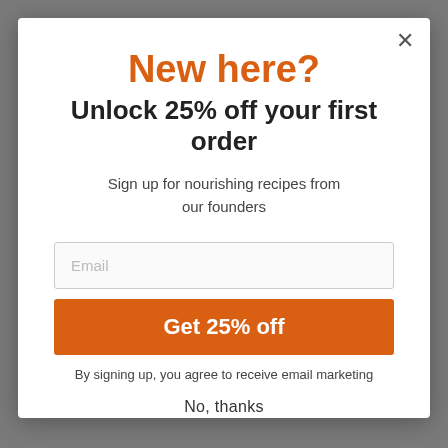New here?
Unlock 25% off your first order
Sign up for nourishing recipes from our founders
Email
Get 25% off
By signing up, you agree to receive email marketing
No, thanks